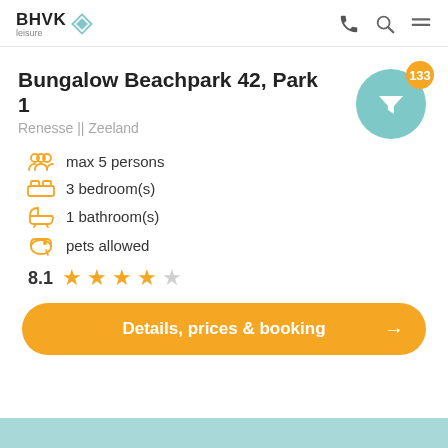BHVK leisure — navigation bar with phone, search, and menu icons
Bungalow Beachpark 42, Park 1
Renesse || Zeeland
max 5 persons
3 bedroom(s)
1 bathroom(s)
pets allowed
8.1 — 4 out of 5 stars rating
Details, prices & booking →